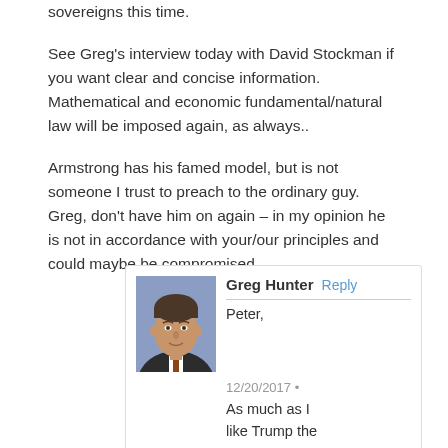sovereigns this time.
See Greg's interview today with David Stockman if you want clear and concise information. Mathematical and economic fundamental/natural law will be imposed again, as always..
Armstrong has his famed model, but is not someone I trust to preach to the ordinary guy. Greg, don't have him on again – in my opinion he is not in accordance with your/our principles and could maybe be compromised.
Greg Hunter Reply
Peter,
12/20/2017 •
As much as I like Trump the